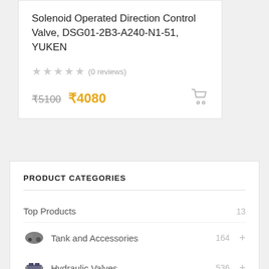Solenoid Operated Direction Control Valve, DSG01-2B3-A240-N1-51, YUKEN
★★★★★ (0 reviews)
₹5100 ₹4080
PRODUCT CATEGORIES
Top Products   13
Tank and Accessories   164
Hydraulic Valves   536